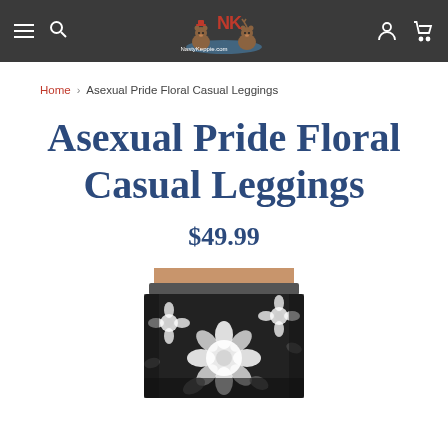NastyKeppie.com navigation bar with hamburger menu, search, logo, account, and cart icons
Home > Asexual Pride Floral Casual Leggings
Asexual Pride Floral Casual Leggings
$49.99
[Figure (photo): Lower torso of a person wearing black and white floral casual leggings, partially cropped at the bottom of the page]